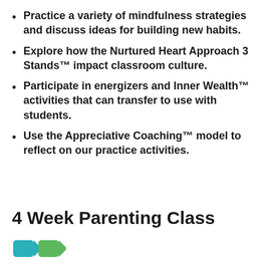Practice a variety of mindfulness strategies and discuss ideas for building new habits.
Explore how the Nurtured Heart Approach 3 Stands™ impact classroom culture.
Participate in energizers and Inner Wealth™ activities that can transfer to use with students.
Use the Appreciative Coaching™ model to reflect on our practice activities.
4 Week Parenting Class
[Figure (logo): Organization logo at bottom left corner]